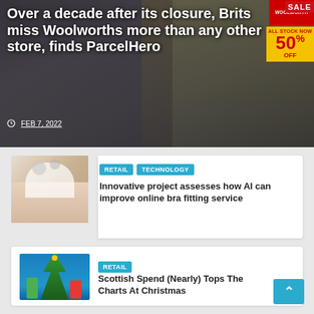[Figure (photo): Hero image of a Woolworths store exterior with a SALE 50% OFF sign, overlaid with white bold title text and a date]
Over a decade after its closure, Brits miss Woolworths more than any other store, finds ParcelHero
FEB 7, 2022
[Figure (photo): Thumbnail image of a bra fitting, close-up of lingerie]
RETAIL TECHNOLOGY
Innovative project assesses how AI can improve online bra fitting service
[Figure (photo): Thumbnail image of a family decorating a Christmas tree against a blue background]
RETAIL
Scottish Spend (Nearly) Tops The Charts At Christmas